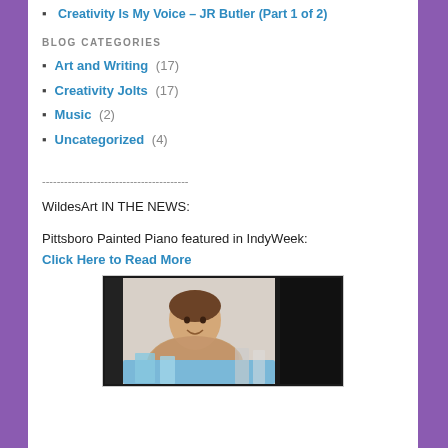Creativity Is My Voice – JR Butler (Part 1 of 2)
BLOG CATEGORIES
Art and Writing (17)
Creativity Jolts (17)
Music (2)
Uncategorized (4)
----------------------------------------
WildesArt IN THE NEWS:
Pittsboro Painted Piano featured in IndyWeek:
Click Here to Read More
[Figure (photo): Photo of a woman smiling, seated at a table with blue decorative items, against a dark background]